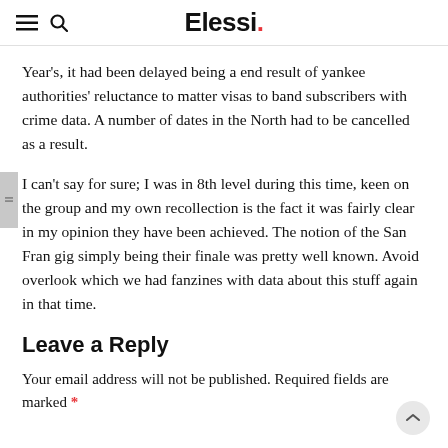Elessi.
Year's, it had been delayed being a end result of yankee authorities' reluctance to matter visas to band subscribers with crime data. A number of dates in the North had to be cancelled as a result.
I can't say for sure; I was in 8th level during this time, keen on the group and my own recollection is the fact it was fairly clear in my opinion they have been achieved. The notion of the San Fran gig simply being their finale was pretty well known. Avoid overlook which we had fanzines with data about this stuff again in that time.
Leave a Reply
Your email address will not be published. Required fields are marked *